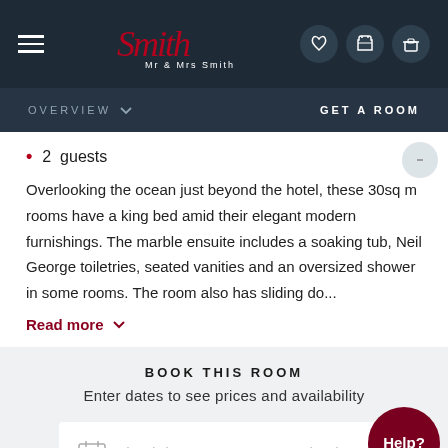Mr & Mrs Smith — Navigation header with logo, hamburger menu, phone, wishlist, and luggage icons
OVERVIEW   GET A ROOM
2  guests
Overlooking the ocean just beyond the hotel, these 30sq m rooms have a king bed amid their elegant modern furnishings. The marble ensuite includes a soaking tub, Neil George toiletries, seated vanities and an oversized shower in some rooms. The room also has sliding do...
Read more
BOOK THIS ROOM
Enter dates to see prices and availability
Check-in  →  Check-out